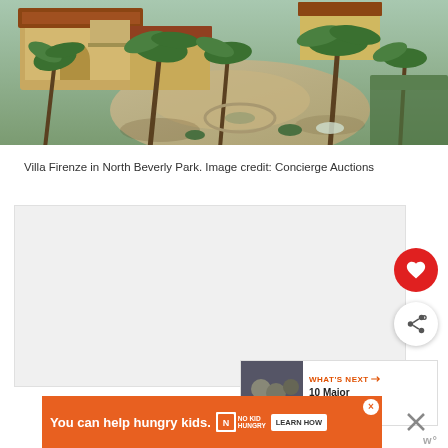[Figure (photo): Aerial view of Villa Firenze in North Beverly Park, showing Mediterranean-style architecture with red tile roof, palm trees, circular driveway, and lush landscaping]
Villa Firenze in North Beverly Park. Image credit: Concierge Auctions
[Figure (screenshot): Partially loaded or blank content area with heart/favorite button (red circle) and share button (white circle with share icon) overlaid on the right side, plus a 'What's Next' panel showing '10 Major Celebrities...']
[Figure (infographic): Advertisement banner: 'You can help hungry kids.' with No Kid Hungry logo and 'LEARN HOW' button on orange background]